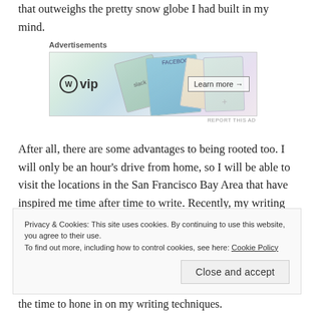that outweighs the pretty snow globe I had built in my mind.
[Figure (screenshot): WordPress VIP advertisement banner with colorful social media card graphics, a 'Learn more →' button, and 'REPORT THIS AD' text below.]
After all, there are some advantages to being rooted too. I will only be an hour's drive from home, so I will be able to visit the locations in the San Francisco Bay Area that have inspired me time after time to write. Recently, my writing has often turned towards California's fascinating history for material, and at Davis I'll be at the heart of the historical
Privacy & Cookies: This site uses cookies. By continuing to use this website, you agree to their use.
To find out more, including how to control cookies, see here: Cookie Policy
the time to hone in on my writing techniques.